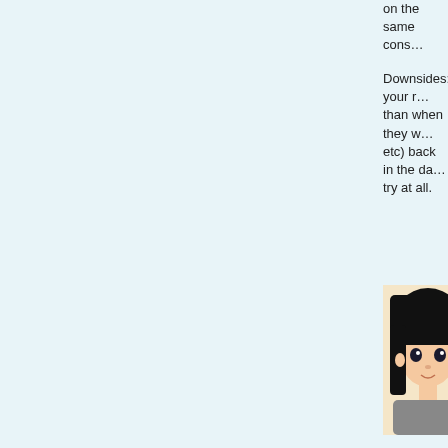on the same cons...
Downsides: your r... than when they w... etc) back in the da... try at all.
Rose by Any... June 18, 2022 a... If you enjoy th... 3d, then I high... well. Had a to...
Deathjav... June 18, 202... One obses... afternoon ... hours… @...
Rose June 18... I wasn... time o... sugge...